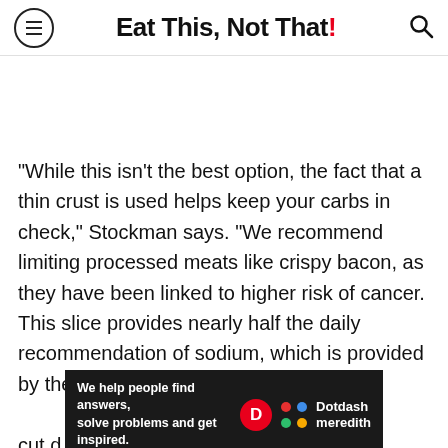Eat This, Not That!
"While this isn't the best option, the fact that a thin crust is used helps keep your carbs in check," Stockman says. "We recommend limiting processed meats like crispy bacon, as they have been linked to higher risk of cancer. This slice provides nearly half the daily recommendation of sodium, which is provided by the sauce, cheese, baco... to cut d... for
[Figure (other): Dotdash Meredith promotional banner: 'We help people find answers, solve problems and get inspired.' with Dotdash Meredith logo]